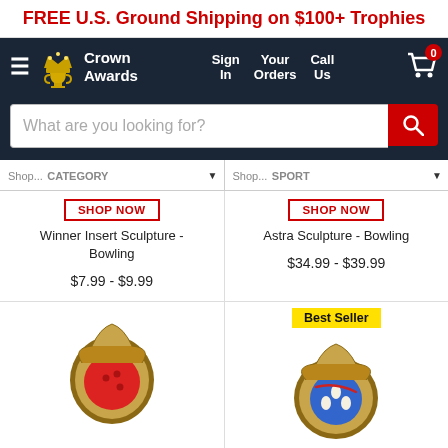FREE U.S. Ground Shipping on $100+ Trophies
[Figure (screenshot): Crown Awards navigation bar with logo, Sign In, Your Orders, Call Us, and cart icon with 0 badge]
[Figure (screenshot): Search bar with placeholder 'What are you looking for?' and red search button]
SHOP NOW — Winner Insert Sculpture - Bowling — $7.99 - $9.99
SHOP NOW — Astra Sculpture - Bowling — $34.99 - $39.99
Best Seller
[Figure (photo): Bowling medal/award with red bowling ball design, bronze frame]
[Figure (photo): Bowling medal/award with blue bowling ball and pins design, bronze frame — Best Seller]